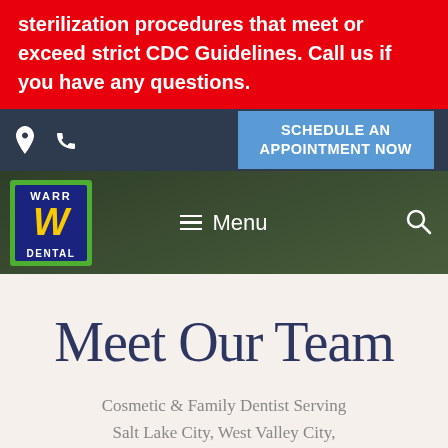sterilization procedures that meet or exceed strict CDC Guidelines. Call us if you have any questions.
[Figure (screenshot): Navigation bar with location pin icon, phone icon, and blue 'SCHEDULE AN APPOINTMENT NOW' button on dark navy background]
[Figure (logo): Warr Dental logo — square logo with green border, blue background, yellow W letter, text WARR on top and DENTAL on bottom]
☰ Menu
Meet Our Team
Cosmetic & Family Dentist Serving Salt Lake City, West Valley City, Draper & Nearby Utah